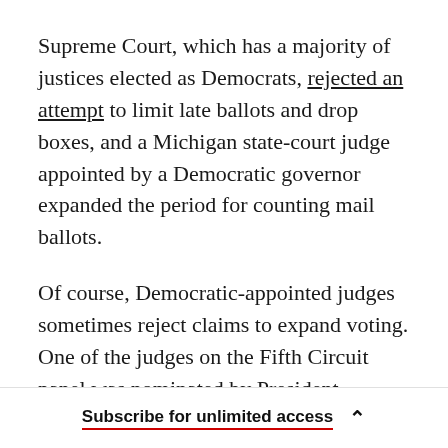Supreme Court, which has a majority of justices elected as Democrats, rejected an attempt to limit late ballots and drop boxes, and a Michigan state-court judge appointed by a Democratic governor expanded the period for counting mail ballots.
Of course, Democratic-appointed judges sometimes reject claims to expand voting. One of the judges on the Fifth Circuit panel was nominated by President Obama, and although he would not have upheld the Texas law, he instead directed that the suit proceed first in state court. Sometimes Republican-appointed judges affirm
Subscribe for unlimited access